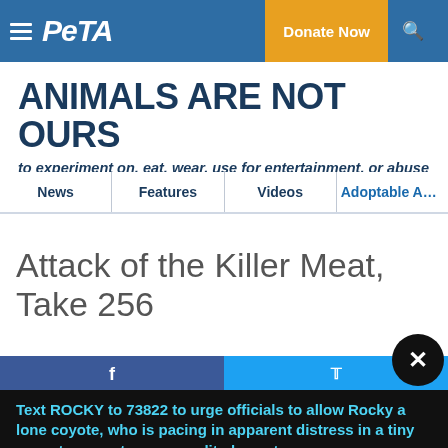PETA — Donate Now
ANIMALS ARE NOT OURS
to experiment on, eat, wear, use for entertainment, or abuse in any other way. ▶▶
News
Features
Videos
Adoptable Anim
Attack of the Killer Meat, Take 256
Text ROCKY to 73822 to urge officials to allow Rocky a lone coyote, who is pacing in apparent distress in a tiny cage, to move to an accredited sanctuary.
Terms for automated texts/calls from PETA: http://peta.vg/txt. Text STOP to end, HELP for more info. Msg/data rates may apply. U.S. only.